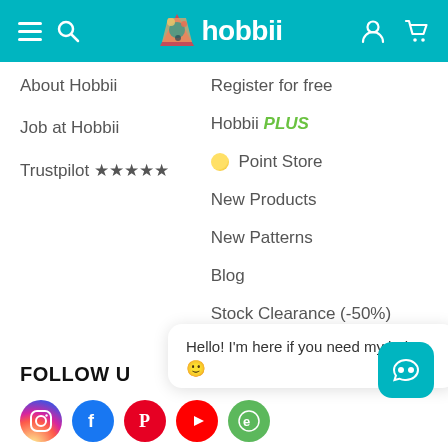hobbii navigation header
About Hobbii
Job at Hobbii
Trustpilot ★★★★★
Register for free
Hobbii PLUS
🟡 Point Store
New Products
New Patterns
Blog
Stock Clearance (-50%)
Gift Voucher
FOLLOW US
Hello! I'm here if you need my help 😊